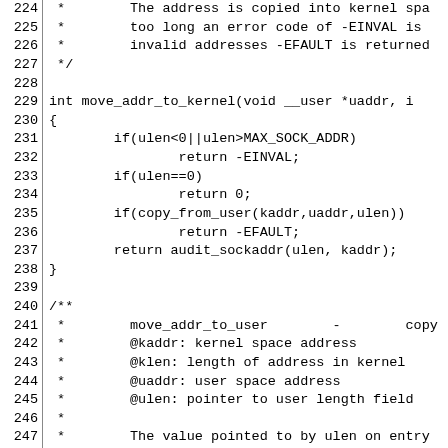Source code listing, lines 224-253, showing move_addr_to_kernel and move_addr_to_user function documentation and implementation in C.